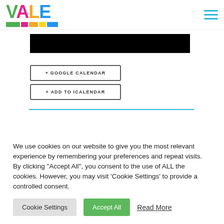[Figure (logo): The Vale colorful logo with letters V (green), A (pink), L (orange), E (blue) and colored blocks beneath, with 'THE' in small white text on pink background]
[Figure (photo): Black rectangular image bar, partially visible]
+ GOOGLE CALENDAR
+ ADD TO ICALENDAR
We use cookies on our website to give you the most relevant experience by remembering your preferences and repeat visits. By clicking "Accept All", you consent to the use of ALL the cookies. However, you may visit 'Cookie Settings' to provide a controlled consent.
Cookie Settings
Accept All
Read More